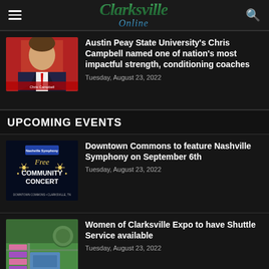Clarksville Online
[Figure (photo): Headshot of Chris Campbell in suit and red tie against red background]
Austin Peay State University's Chris Campbell named one of nation's most impactful strength, conditioning coaches
Tuesday, August 23, 2022
UPCOMING EVENTS
[Figure (photo): Nashville Symphony Free Community Concert poster with dark blue background and gold stars]
Downtown Commons to feature Nashville Symphony on September 6th
Tuesday, August 23, 2022
[Figure (photo): Aerial rendering of Women of Clarksville Expo venue with parking and green spaces]
Women of Clarksville Expo to have Shuttle Service available
Tuesday, August 23, 2022